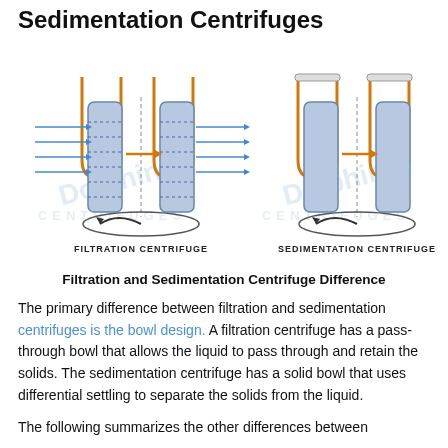Difference Between Filtration and Sedimentation Centrifuges
[Figure (engineering-diagram): Side-by-side schematic diagrams comparing a Filtration Centrifuge (left) and a Sedimentation Centrifuge (right). Both show cylindrical bowls with orange U-shaped inlet/outlet tubes and blue horizontal arrows indicating liquid flow. The filtration centrifuge bowl has dashed perforation lines and blue arrows passing through the bowl walls. An orange horizontal arrow points right inside the bowl. Both diagrams show a rotating base with a black curved arrow indicating spin direction. Labels below each diagram read FILTRATION CENTRIFUGE and SEDIMENTATION CENTRIFUGE respectively.]
Filtration and Sedimentation Centrifuge Difference
The primary difference between filtration and sedimentation centrifuges is the bowl design. A filtration centrifuge has a pass-through bowl that allows the liquid to pass through and retain the solids. The sedimentation centrifuge has a solid bowl that uses differential settling to separate the solids from the liquid.
The following summarizes the other differences between